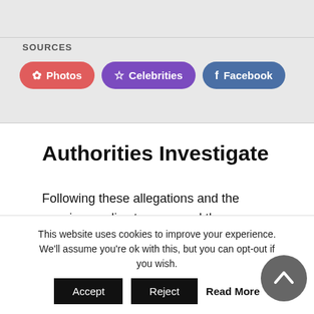[Figure (screenshot): Screenshot of a webpage showing a SOURCES section with three pill-shaped buttons: Photos (red), Celebrities (purple), and Facebook (blue), on a grey background.]
Authorities Investigate
Following these allegations and the growing media storm around the app, US Senate minority leader Chuck Schumer has called for an investigation by the FBI and the Federal Trade Commission (FTC) into FaceApp. On
This website uses cookies to improve your experience. We'll assume you're ok with this, but you can opt-out if you wish.  Accept  Reject  Read More